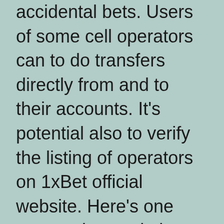accidental bets. Users of some cell operators can to do transfers directly from and to their accounts. It's potential also to verify the listing of operators on 1xBet official website. Here's one more unique solution provided by 1xBet for all Telegram messenger customers. Now to install the app you have to do a number of changes in device's settings. Unfortunately in any other case proper installation is inconceivable.
1xbet app access is a particular program for searching for a working mirror in Abuja. Suitable for gamers who don't want to use